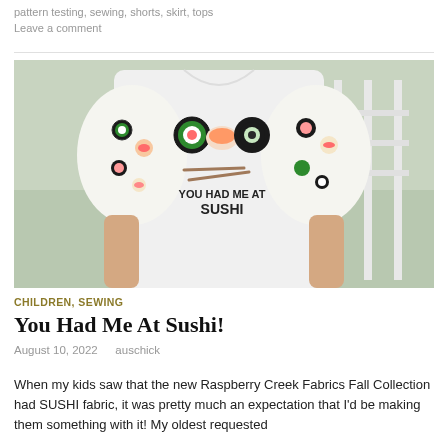pattern testing, sewing, shorts, skirt, tops
Leave a comment
[Figure (photo): Child wearing a white t-shirt with sushi pattern on the sleeves and a 'YOU HAD ME AT SUSHI' graphic on the front, standing in front of a white railing outdoors.]
CHILDREN, SEWING
You Had Me At Sushi!
August 10, 2022   auschick
When my kids saw that the new Raspberry Creek Fabrics Fall Collection had SUSHI fabric, it was pretty much an expectation that I'd be making them something with it! My oldest requested